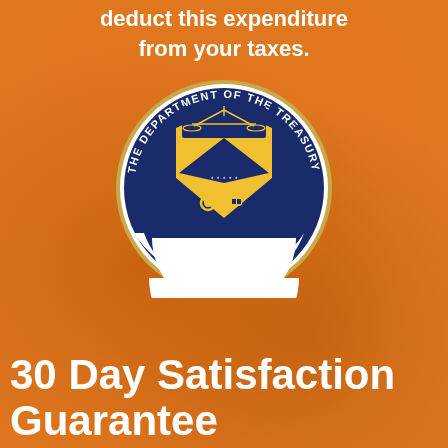deduct this expenditure from your taxes.
[Figure (logo): The Department of the Treasury seal, circular seal with navy blue border, text reading 'THE DEPARTMENT OF THE TREASURY' around the top, '1789' at the bottom, featuring a yellow/gold shield with scales of justice and a key in the center on a blue background]
30 Day Satisfaction Guarantee